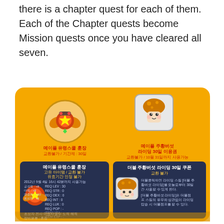there is a chapter quest for each of them. Each of the Chapter quests become Mission quests once you have cleared all seven.
[Figure (screenshot): Game UI screenshot showing two item reward panels on an orange background. Left panel: 메이플 유령스쿨 훈장 (MapleStory Ghost School Medal) with stats. Right panel: 메이플 주황버섯 라이딩 30일 이용권 (MapleStory Orange Mushroom Riding 30-day coupon) with description.]